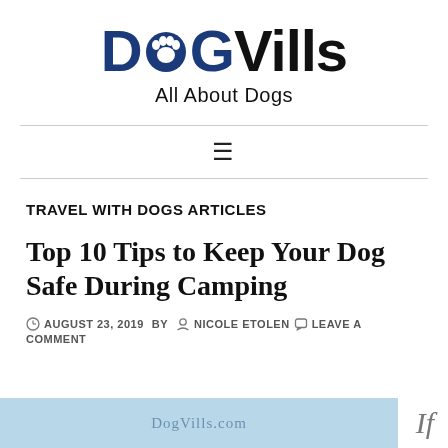DogVills All About Dogs
TRAVEL WITH DOGS ARTICLES
Top 10 Tips to Keep Your Dog Safe During Camping
AUGUST 23, 2019  BY  NICOLE ETOLEN  LEAVE A COMMENT
[Figure (photo): Partial photo strip at bottom of page with DogVills.com watermark text on light blue background]